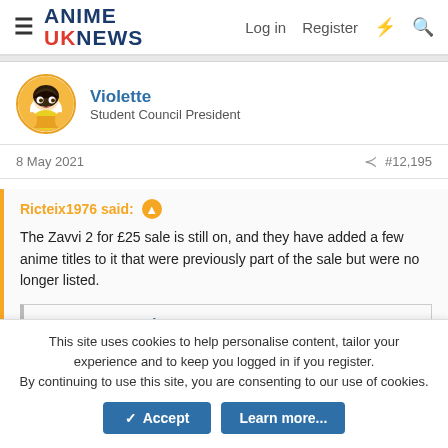ANIME UK NEWS — Log in  Register
Violette
Student Council President
8 May 2021  #12,195
Ricteix1976 said:
The Zavvi 2 for £25 sale is still on, and they have added a few anime titles to it that were previously part of the sale but were no longer listed.
Zavvi UK
www.zavvi.com
This site uses cookies to help personalise content, tailor your experience and to keep you logged in if you register.
By continuing to use this site, you are consenting to our use of cookies.